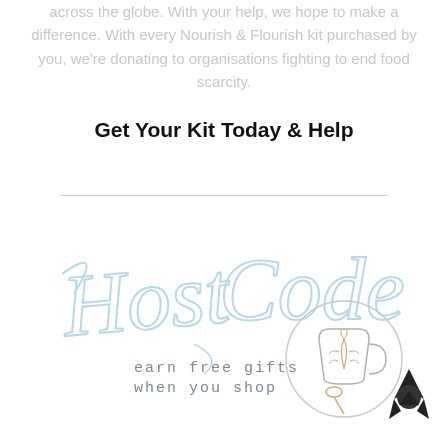across the globe. With your help, we hope to make a difference. With every Nourish & Flourish kit purchased by you, we're donating to organisations fighting to end food scarcity.
Get Your Kit Today & Help
[Figure (logo): Host Code logo with decorative script text reading 'Host Code', subtitle 'earn free gifts when you shop', a coffee cup illustration, and a small rocket/navigation icon in the bottom right.]